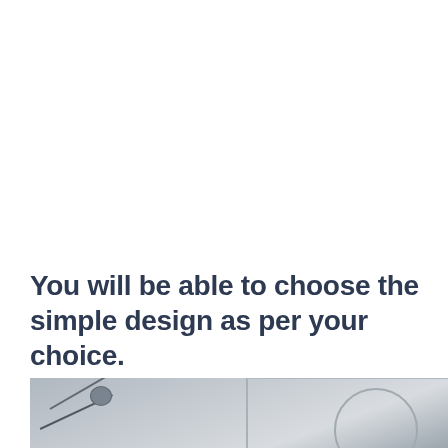You will be able to choose the simple design as per your choice.
[Figure (photo): Interior ceiling view of an aircraft or vehicle cabin showing panel lines, a circular vent or light fixture, and architectural details in grey and white tones]